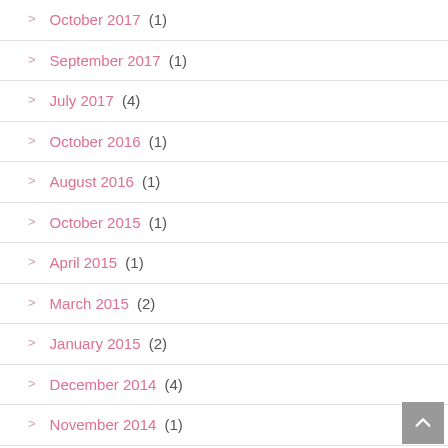October 2017 (1)
September 2017 (1)
July 2017 (4)
October 2016 (1)
August 2016 (1)
October 2015 (1)
April 2015 (1)
March 2015 (2)
January 2015 (2)
December 2014 (4)
November 2014 (1)
October 2014 (2)
September 2014 (1)
August 2014 (2)